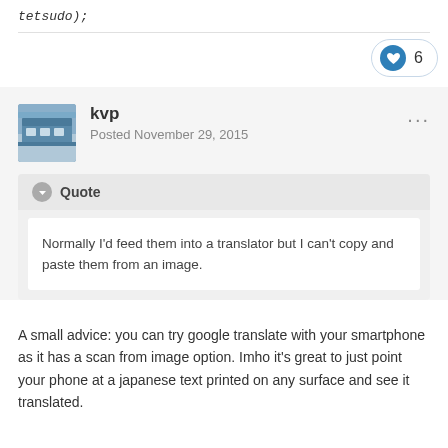tetsudo);
[Figure (other): Like button pill showing heart icon and count of 6]
[Figure (photo): User avatar photo showing a train at a station]
kvp
Posted November 29, 2015
Quote
Normally I'd feed them into a translator but I can't copy and paste them from an image.
A small advice: you can try google translate with your smartphone as it has a scan from image option. Imho it's great to just point your phone at a japanese text printed on any surface and see it translated.